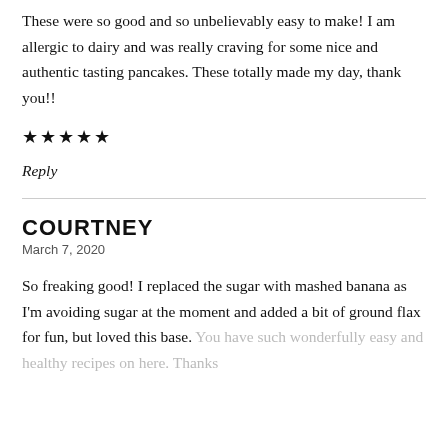These were so good and so unbelievably easy to make! I am allergic to dairy and was really craving for some nice and authentic tasting pancakes. These totally made my day, thank you!!
★★★★★
Reply
COURTNEY
March 7, 2020
So freaking good! I replaced the sugar with mashed banana as I'm avoiding sugar at the moment and added a bit of ground flax for fun, but loved this base. You have such wonderfully easy and healthy recipes on here. Thanks